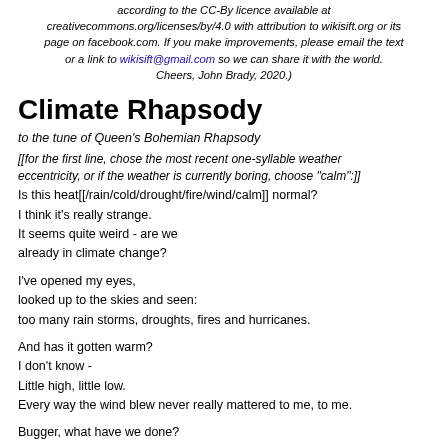according to the CC-By licence available at creativecommons.org/licenses/by/4.0 with attribution to wikisift.org or its page on facebook.com. If you make improvements, please email the text or a link to wikisift@gmail.com so we can share it with the world. Cheers, John Brady, 2020.)
Climate Rhapsody
to the tune of Queen's Bohemian Rhapsody
[[for the first line, chose the most recent one-syllable weather eccentricity, or if the weather is currently boring, choose "calm":]]
Is this heat[[/rain/cold/drought/fire/wind/calm]] normal?
I think it's really strange.
It seems quite weird - are we
already in climate change?
I've opened my eyes,
looked up to the skies and seen:
too many rain storms, droughts, fires and hurricanes.
And has it gotten warm?
I don't know -
Little high, little low.
Every way the wind blew never really mattered to me, to me.
Bugger, what have we done?